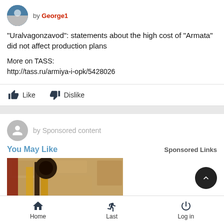by George1
"Uralvagonzavod": statements about the high cost of "Armata" did not affect production plans
More on TASS:
http://tass.ru/armiya-i-opk/5428026
Like   Dislike
by Sponsored content
You May Like
Sponsored Links
[Figure (photo): Photo of outdoor wall lamp/lantern on textured stone wall]
Home   Last   Log in